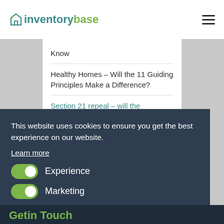inventorybase
Know
Healthy Homes – Will the 11 Guiding Principles Make a Difference?
Section 21 repeal – will the balance of evidence...
This website uses cookies to ensure you get the best experience on our website.
Learn more
Experience
Marketing
Save Settings
Allow
Getin Touch